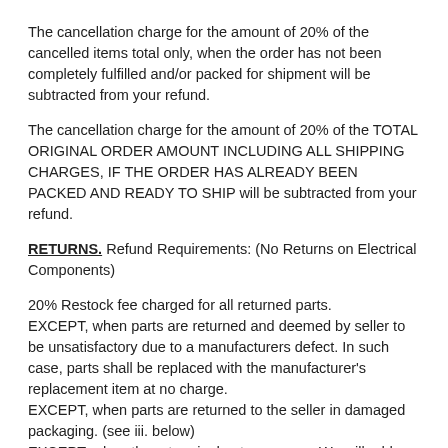The cancellation charge for the amount of 20% of the cancelled items total only, when the order has not been completely fulfilled and/or packed for shipment will be subtracted from your refund.
The cancellation charge for the amount of 20% of the TOTAL ORIGINAL ORDER AMOUNT INCLUDING ALL SHIPPING CHARGES, IF THE ORDER HAS ALREADY BEEN PACKED AND READY TO SHIP will be subtracted from your refund.
RETURNS. Refund Requirements: (No Returns on Electrical Components)
20% Restock fee charged for all returned parts. EXCEPT, when parts are returned and deemed by seller to be unsatisfactory due to a manufacturers defect. In such case, parts shall be replaced with the manufacturer's replacement item at no charge. EXCEPT, when parts are returned to the seller in damaged packaging. (see iii. below) EXCEPT, when the return is due to our error. We will add your return handling costs to your refund in this case. All returns require a YSP Return Authorization # (RA#) inside each package of returned items.
We must receive your request for a RAC# no more than 15 days after